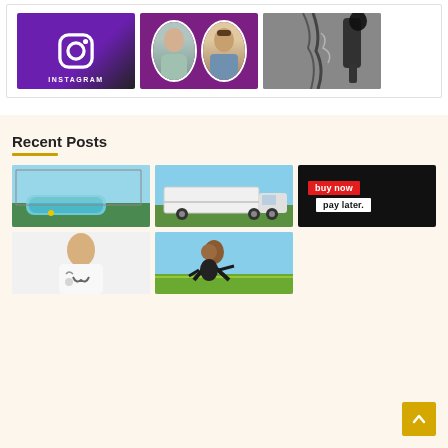[Figure (screenshot): Top section showing three images in a white box: an Instagram logo on purple background, two people on purple background, and a cracked road with filler.]
Recent Posts
[Figure (photo): Pool enclosure with swimming pool]
[Figure (photo): White moving truck on road]
[Figure (photo): Buy now pay later promotional graphic]
[Figure (photo): Female doctor with stethoscope]
[Figure (photo): Athlete doing push-up or starting position on track]